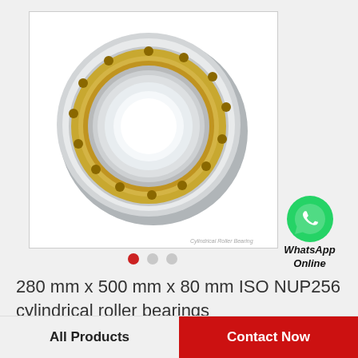[Figure (photo): Cylindrical roller bearing (ISO NUP256), silver and gold colored, shown at an angle with visible rollers and cage. Watermark text 'Cylindrical Roller Bearing' at bottom right of image.]
[Figure (infographic): WhatsApp green circle logo icon with phone handset symbol, followed by text 'WhatsApp Online' in italic bold.]
280 mm x 500 mm x 80 mm ISO NUP256 cylindrical roller bearings
All Products
Contact Now